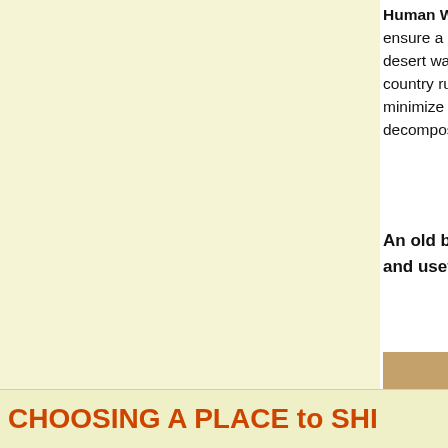Human Waste: Proper disposal of human waste is important to ensure a clean ecological environment. Avoid polluting desert washes, & fragile eco systems by following back country rules. Prevent the negative impact of some, minimize the spreading diseases, and increase the decomposition.
An old backpack or army satchel makes and useful "POTTY BAG"
[Figure (photo): An army/military canvas satchel bag with metal poles sticking out the top, sitting on a wooden floor surface. The bag is olive/khaki colored canvas with buckle straps.]
Grandma m... to squat, so accordingly. problem we... balance whi... finding that ... makeshift to... chore. With device, a c... seat, you ca... the view. (W... do apply.) G... head for the most remote spot you can fi...
CHOOSING A PLACE to SHI...